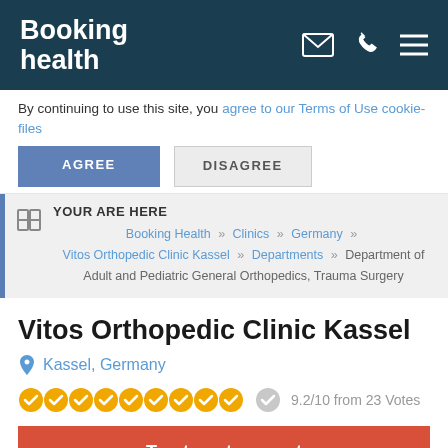Booking health
By continuing to use this site, you agree to our Terms of Use cookie-files
AGREE | DISAGREE
YOUR ARE HERE
Booking Health › Clinics › Germany › Vitos Orthopedic Clinic Kassel › Departments › Department of Adult and Pediatric General Orthopedics, Trauma Surgery
Vitos Orthopedic Clinic Kassel
Kassel, Germany
9.2/10 from 23 Votes
Treatment request